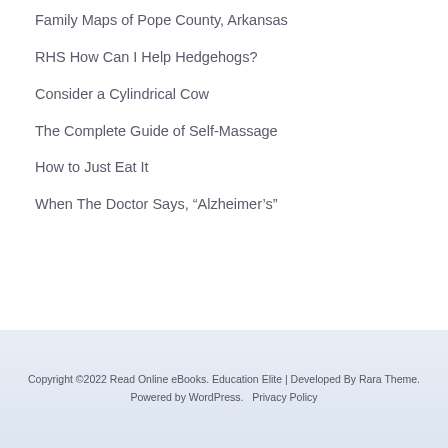Family Maps of Pope County, Arkansas
RHS How Can I Help Hedgehogs?
Consider a Cylindrical Cow
The Complete Guide of Self-Massage
How to Just Eat It
When The Doctor Says, “Alzheimer’s”
Copyright ©2022 Read Online eBooks. Education Elite | Developed By Rara Theme. Powered by WordPress.   Privacy Policy